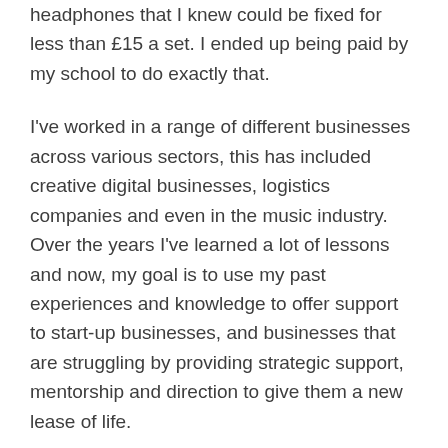headphones that I knew could be fixed for less than £15 a set. I ended up being paid by my school to do exactly that.
I've worked in a range of different businesses across various sectors, this has included creative digital businesses, logistics companies and even in the music industry. Over the years I've learned a lot of lessons and now, my goal is to use my past experiences and knowledge to offer support to start-up businesses, and businesses that are struggling by providing strategic support, mentorship and direction to give them a new lease of life.
Founding a private equity disruptor